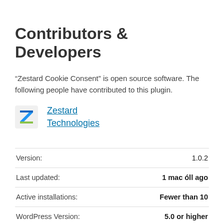Contributors & Developers
“Zestard Cookie Consent” is open source software. The following people have contributed to this plugin.
[Figure (logo): Zestard Technologies logo: a stylized Z in blue and green/yellow colors]
Zestard Technologies
|  |  |
| --- | --- |
| Version: | 1.0.2 |
| Last updated: | 1 mac óll ago |
| Active installations: | Fewer than 10 |
| WordPress Version: | 5.0 or higher |
| Tested up to: | 6.0.2 |